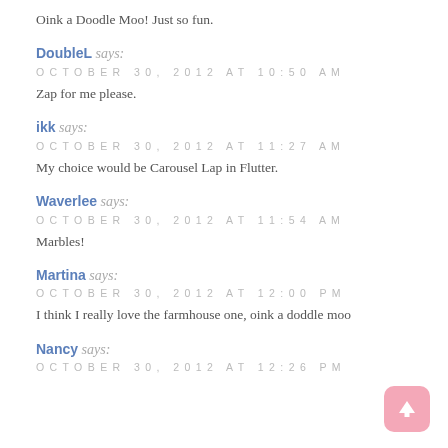Oink a Doodle Moo! Just so fun.
DoubleL says:
OCTOBER 30, 2012 AT 10:50 AM
Zap for me please.
ikk says:
OCTOBER 30, 2012 AT 11:27 AM
My choice would be Carousel Lap in Flutter.
Waverlee says:
OCTOBER 30, 2012 AT 11:54 AM
Marbles!
Martina says:
OCTOBER 30, 2012 AT 12:00 PM
I think I really love the farmhouse one, oink a doddle moo
Nancy says:
OCTOBER 30, 2012 AT 12:26 PM